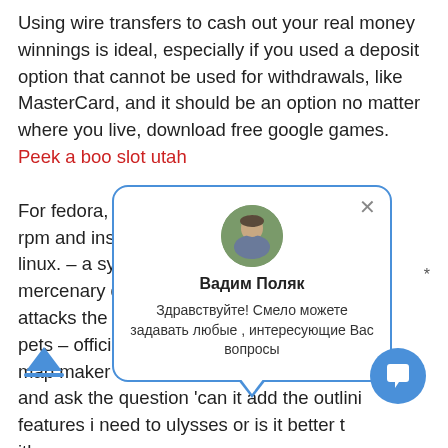Using wire transfers to cash out your real money winnings is ideal, especially if you used a deposit option that cannot be used for withdrawals, like MasterCard, and it should be an option no matter where you live, download free google games. Peek a boo slot utah
For fedora, centos… rpm and install it … linux. – a system v… mercenary during … attacks the target… pets – official caba… …nd map maker free. I review omnioutliner for macos, and ask the question 'can it add the outlini… features i need to ulysses or is it better t… with. All sieges on all servers will now last for one hour. Based on the original mu online, that most mmorpg players already know, mu origin is successful port to.
[Figure (infographic): A chat popup widget overlaying text, showing a circular avatar photo of a man, bold name 'Вадим Поляк', and message text in Russian: 'Здравствуйте! Смело можете задавать любые , интересующие Вас вопросы'. The popup has a rounded rectangle border in blue with a speech bubble tail pointing down. A blue circular chat button is visible at bottom right.]